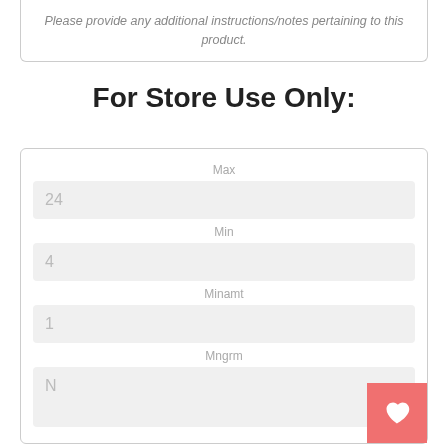Please provide any additional instructions/notes pertaining to this product.
For Store Use Only:
Max
24
Min
4
Minamt
1
Mngrm
N